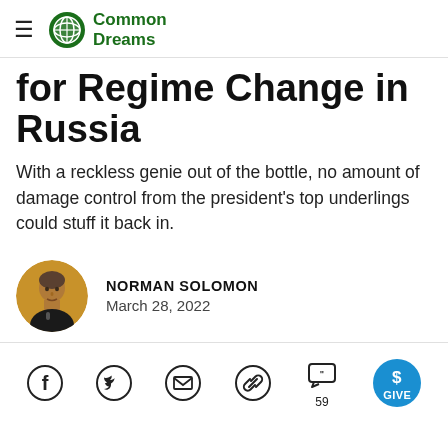Common Dreams
for Regime Change in Russia
With a reckless genie out of the bottle, no amount of damage control from the president's top underlings could stuff it back in.
NORMAN SOLOMON
March 28, 2022